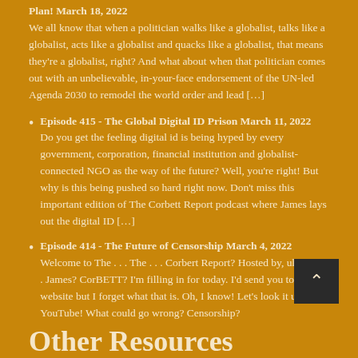Plan! March 18, 2022
We all know that when a politician walks like a globalist, talks like a globalist, acts like a globalist and quacks like a globalist, that means they're a globalist, right? And what about when that politician comes out with an unbelievable, in-your-face endorsement of the UN-led Agenda 2030 to remodel the world order and lead […]
Episode 415 - The Global Digital ID Prison March 11, 2022
Do you get the feeling digital id is being hyped by every government, corporation, financial institution and globalist-connected NGO as the way of the future? Well, you're right! But why is this being pushed so hard right now. Don't miss this important edition of The Corbett Report podcast where James lays out the digital ID […]
Episode 414 - The Future of Censorship March 4, 2022
Welcome to The . . . The . . . Corbert Report? Hosted by, uhhhh . . . James? CorBETT? I'm filling in for today. I'd send you to his website but I forget what that is. Oh, I know! Let's look it up on YouTube! What could go wrong? Censorship?
Other Resources